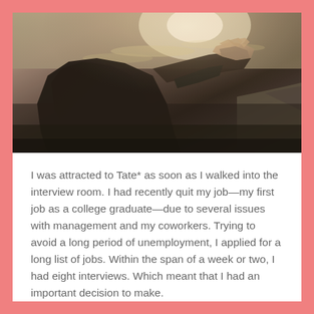[Figure (photo): A close-up photo of two people holding hands near what appears to be a waterfront or beach scene with sunlight reflecting on water in the background. The subjects are dressed in dark clothing, and the image has a moody, backlit quality.]
I was attracted to Tate* as soon as I walked into the interview room. I had recently quit my job—my first job as a college graduate—due to several issues with management and my coworkers. Trying to avoid a long period of unemployment, I applied for a long list of jobs. Within the span of a week or two, I had eight interviews. Which meant that I had an important decision to make.